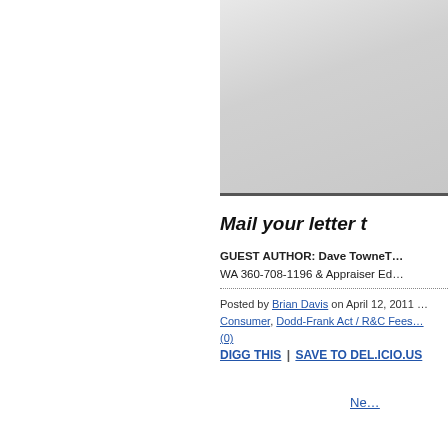[Figure (screenshot): YouTube video thumbnail showing a speech bubble shape and YouTube play button icon over a cityscape illustration with reddish buildings on a gray gradient background]
Mail your letter t…
GUEST AUTHOR: Dave TowneTh…
WA 360-708-1196 & Appraiser Ed…
Posted by Brian Davis on April 12, 2011 … Consumer, Dodd-Frank Act / R&C Fees … (0)
DIGG THIS | SAVE TO DEL.ICIO.US
Ne…